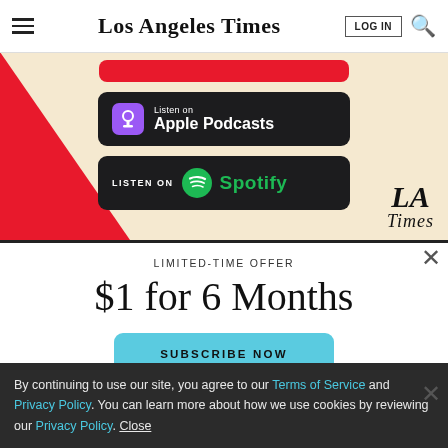Los Angeles Times
[Figure (screenshot): Los Angeles Times podcast advertisement banner with Apple Podcasts and Spotify listen buttons, LA Times logo, and red triangle decoration on beige background]
LIMITED-TIME OFFER
$1 for 6 Months
SUBSCRIBE NOW
By continuing to use our site, you agree to our Terms of Service and Privacy Policy. You can learn more about how we use cookies by reviewing our Privacy Policy. Close